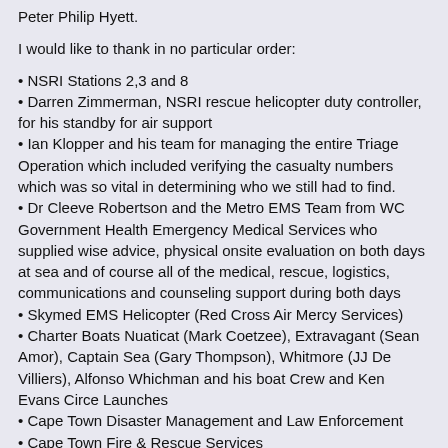Peter Philip Hyett.
I would like to thank in no particular order:
NSRI Stations 2,3 and 8
Darren Zimmerman, NSRI rescue helicopter duty controller, for his standby for air support
Ian Klopper and his team for managing the entire Triage Operation which included verifying the casualty numbers which was so vital in determining who we still had to find.
Dr Cleeve Robertson and the Metro EMS Team from WC Government Health Emergency Medical Services who supplied wise advice, physical onsite evaluation on both days at sea and of course all of the medical, rescue, logistics, communications and counseling support during both days
Skymed EMS Helicopter (Red Cross Air Mercy Services)
Charter Boats Nuaticat (Mark Coetzee), Extravagant (Sean Amor), Captain Sea (Gary Thompson), Whitmore (JJ De Villiers), Alfonso Whichman and his boat Crew and Ken Evans Circe Launches
Cape Town Disaster Management and Law Enforcement
Cape Town Fire & Rescue Services
SA Police Services Visible Policing and the Hout Bay SAPS Team
SA Police Services Diving Unit